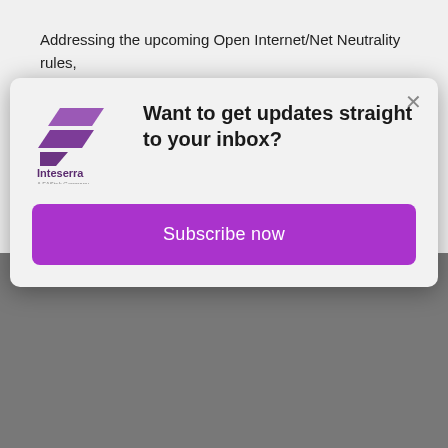Addressing the upcoming Open Internet/Net Neutrality rules, she noted that she had previously expressed a preference for by noting that Title II with for her as a means of providing the ability and to balance the interests of all Open Internet providers while limiting the risk to and the ...
[Figure (logo): Inteserra - A FAStek Company logo with purple stylized 'F' icon]
Want to get updates straight to your inbox?
Subscribe now